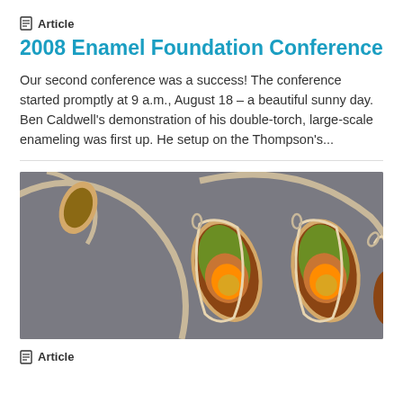Article
2008 Enamel Foundation Conference
Our second conference was a success! The conference started promptly at 9 a.m., August 18 – a beautiful sunny day. Ben Caldwell's demonstration of his double-torch, large-scale enameling was first up. He setup on the Thompson's...
[Figure (photo): Close-up photo of ornate enamel jewelry pieces — teardrop-shaped pendants with colorful floral enamel designs set in metal wire frames, arranged on a gray surface.]
Article